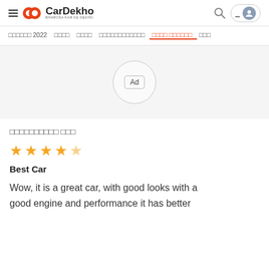CarDekho BHAROSA KAR KE DEKHO
□□□□□□ 2022  □□□□  □□□□  □□□□□□□□□□□□  □□□□ □□□□□□  □□□
[Figure (other): Advertisement placeholder circle with 'Ad' label]
□□□□□□□□□□ □□□
★★★★½
Best Car
Wow, it is a great car, with good looks with a good engine and performance it has better